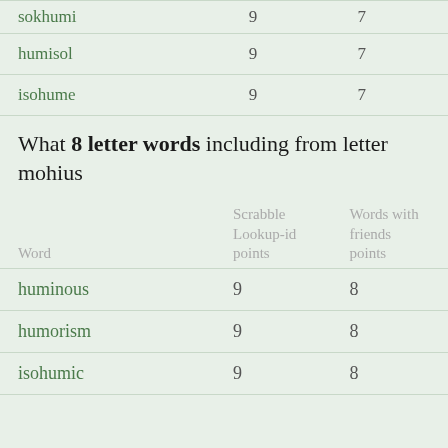| Word | Scrabble Lookup-id points | Words with friends points |
| --- | --- | --- |
| sokhumi | 9 | 7 |
| humisol | 9 | 7 |
| isohume | 9 | 7 |
What 8 letter words including from letter mohius
| Word | Scrabble Lookup-id points | Words with friends points |
| --- | --- | --- |
| huminous | 9 | 8 |
| humorism | 9 | 8 |
| isohumic | 9 | 8 |